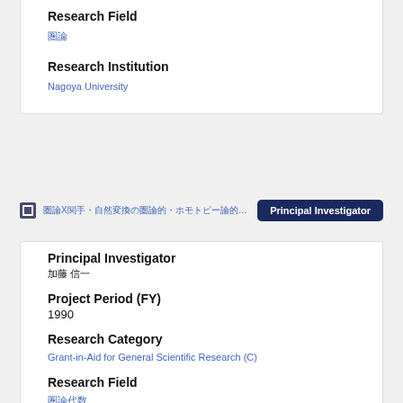Research Field
圏論
Research Institution
Nagoya University
📄 圏論X関手・自然変換の圏論的・ホモトピー論的研究 - 圏論・代数的位相幾何学
Principal Investigator
Principal Investigator
加藤 信一
Project Period (FY)
1990
Research Category
Grant-in-Aid for General Scientific Research (C)
Research Field
圏論代数